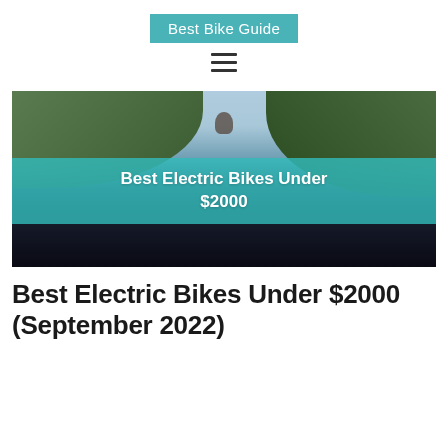Best Bike Guide
[Figure (photo): Hero image showing a person cycling on a road with hills in background, overlaid with teal banner reading 'Best Electric Bikes Under $2000']
Best Electric Bikes Under $2000 (September 2022)